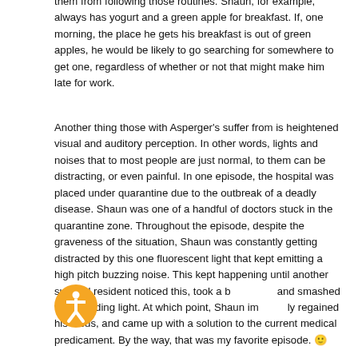them from following those routines. Shaun, for example, always has yogurt and a green apple for breakfast. If, one morning, the place he gets his breakfast is out of green apples, he would be likely to go searching for somewhere to get one, regardless of whether or not that might make him late for work.
Another thing those with Asperger's suffer from is heightened visual and auditory perception. In other words, lights and noises that to most people are just normal, to them can be distracting, or even painful. In one episode, the hospital was placed under quarantine due to the outbreak of a deadly disease. Shaun was one of a handful of doctors stuck in the quarantine zone. Throughout the episode, despite the graveness of the situation, Shaun was constantly getting distracted by this one fluorescent light that kept emitting a high pitch buzzing noise. This kept happening until another surgical resident noticed this, took a b[icon]and smashed the offending light. At which point, Shaun im[icon]ly regained his focus, and came up with a solution to the current medical predicament. By the way, that was my favorite episode. 🙂